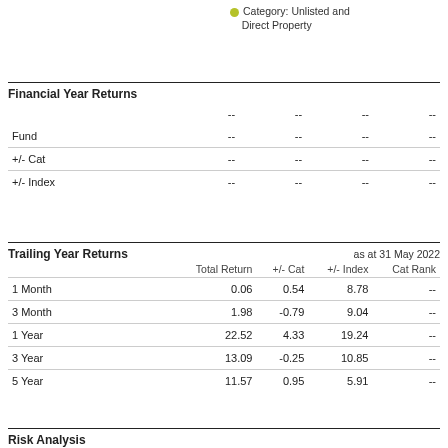Category: Unlisted and Direct Property
Financial Year Returns
|  |  |  |  |  |
| --- | --- | --- | --- | --- |
|  | -- | -- | -- | -- |
| Fund | -- | -- | -- | -- |
| +/- Cat | -- | -- | -- | -- |
| +/- Index | -- | -- | -- | -- |
Trailing Year Returns
as at 31 May 2022
|  | Total Return | +/- Cat | +/- Index | Cat Rank |
| --- | --- | --- | --- | --- |
| 1 Month | 0.06 | 0.54 | 8.78 | -- |
| 3 Month | 1.98 | -0.79 | 9.04 | -- |
| 1 Year | 22.52 | 4.33 | 19.24 | -- |
| 3 Year | 13.09 | -0.25 | 10.85 | -- |
| 5 Year | 11.57 | 0.95 | 5.91 | -- |
Risk Analysis